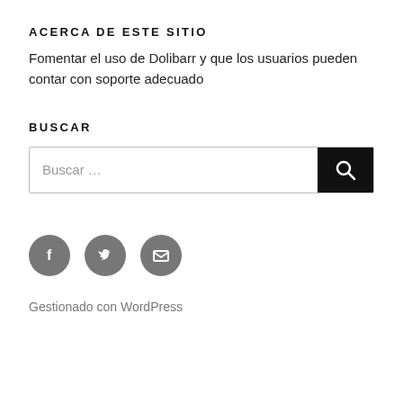ACERCA DE ESTE SITIO
Fomentar el uso de Dolibarr y que los usuarios pueden contar con soporte adecuado
BUSCAR
[Figure (other): Search box with placeholder text 'Buscar ...' and a dark search button with magnifying glass icon]
[Figure (other): Three circular social media icons: Facebook (f), Twitter (bird), Email (envelope)]
Gestionado con WordPress